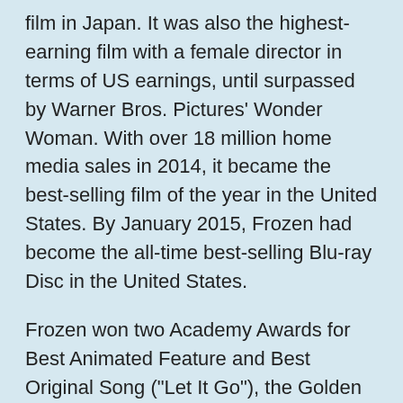film in Japan. It was also the highest-earning film with a female director in terms of US earnings, until surpassed by Warner Bros. Pictures' Wonder Woman. With over 18 million home media sales in 2014, it became the best-selling film of the year in the United States. By January 2015, Frozen had become the all-time best-selling Blu-ray Disc in the United States.
Frozen won two Academy Awards for Best Animated Feature and Best Original Song ("Let It Go"), the Golden Globe Award for Best Animated Feature Film, the BAFTA Award for Best Animated Film, five Annie Awards (including Best Animated Feature), two Grammy Awards for Best Compilation Soundtrack for Visual Media and Best Song Written for Visual Media ("Let It Go"), and two Critics' Choice Movie Awards for Best Animated Feature and Best Original Song ("Let It Go"). An animated short sequel, Frozen Fever, premiered on March 13, 2015, an animated featurette titled Olaf's Frozen Adventure, premiered on November 22, 2017